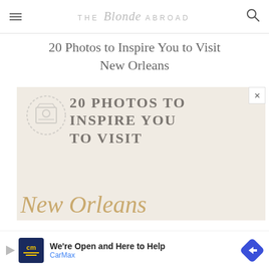THE Blonde ABROAD
20 Photos to Inspire You to Visit New Orleans
[Figure (illustration): Promotional graphic for '20 Photos to Inspire You to Visit New Orleans' blog post. Features large serif uppercase text '20 PHOTOS TO INSPIRE YOU TO VISIT' in grey, and 'New Orleans' in gold cursive script, on a light beige/cream background with a watermark stamp camera icon.]
[Figure (infographic): CarMax advertisement banner: 'We're Open and Here to Help' with CarMax logo and blue diamond arrow icon.]